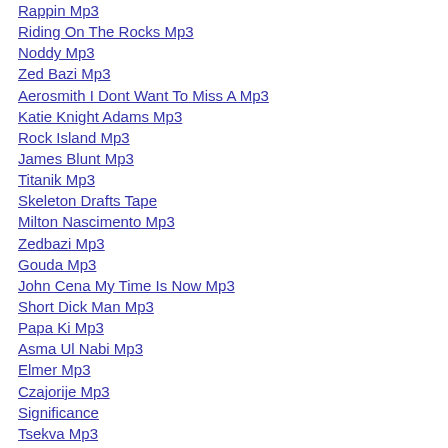Rappin Mp3
Riding On The Rocks Mp3
Noddy Mp3
Zed Bazi Mp3
Aerosmith I Dont Want To Miss A Mp3
Katie Knight Adams Mp3
Rock Island Mp3
James Blunt Mp3
Titanik Mp3
Skeleton Drafts Tape
Milton Nascimento Mp3
Zedbazi Mp3
Gouda Mp3
John Cena My Time Is Now Mp3
Short Dick Man Mp3
Papa Ki Mp3
Asma Ul Nabi Mp3
Elmer Mp3
Czajorije Mp3
Significance
Tsekva Mp3
Stairway To Heaven Mp3
Yeh Jo Mp3
Because Of You Mp3
Arsenal Mp3